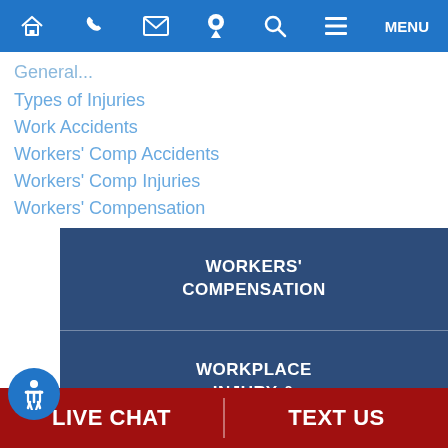Home | Phone | Email | Location | Search | Menu
General...
Types of Injuries
Work Accidents
Workers' Comp Accidents
Workers' Comp Injuries
Workers' Compensation
WORKERS' COMPENSATION
WORKPLACE INJURY & ACCIDENTS
CLAI...
LIVE CHAT
TEXT US